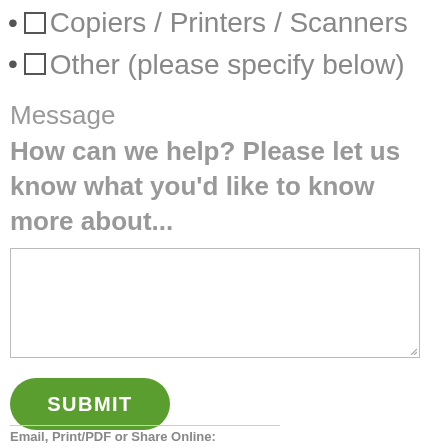☐ Copiers / Printers / Scanners
☐ Other (please specify below)
Message
How can we help? Please let us know what you'd like to know more about...
[Figure (other): Empty textarea input box for user message]
[Figure (other): Green rounded SUBMIT button]
Email, Print/PDF or Share Online: